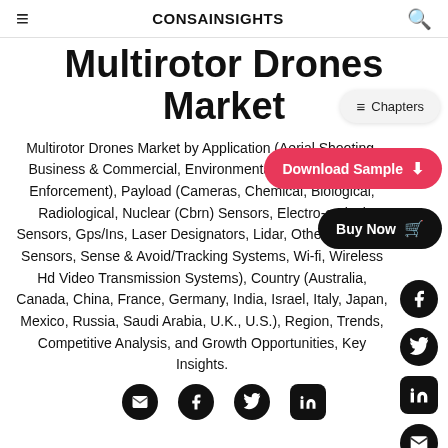CONSAINSIGHTS
Multirotor Drones Market
Multirotor Drones Market by Application (Aerial Shooting, Business & Commercial, Environmental Inspection, Law Enforcement), Payload (Cameras, Chemical, Biological, Radiological, Nuclear (Cbrn) Sensors, Electro-optical Sensors, Gps/Ins, Laser Designators, Lidar, Other Miniature Sensors, Sense & Avoid/Tracking Systems, Wi-fi, Wireless Hd Video Transmission Systems), Country (Australia, Canada, China, France, Germany, India, Israel, Italy, Japan, Mexico, Russia, Saudi Arabia, U.K., U.S.), Region, Trends, Competitive Analysis, and Growth Opportunities, Key Insights.